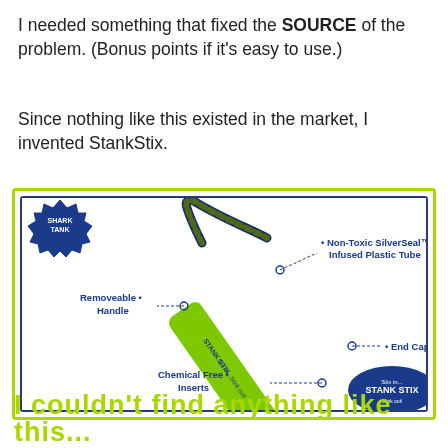I needed something that fixed the SOURCE of the problem. (Bonus points if it's easy to use.)
Since nothing like this existed in the market, I invented StankStix.
[Figure (illustration): Product diagram of StankStix — a long green flexible tube with a braided handle loop at the top, labeled with: 'Non-Toxic SilverSeal™ Infused Plastic Tube', 'Removeable Handle', 'End Caps', 'Chemical Free Inserts'. Shark Tank badge logo in upper left. Stank Stix oval logo in lower right.]
I couldn't find anything like this...